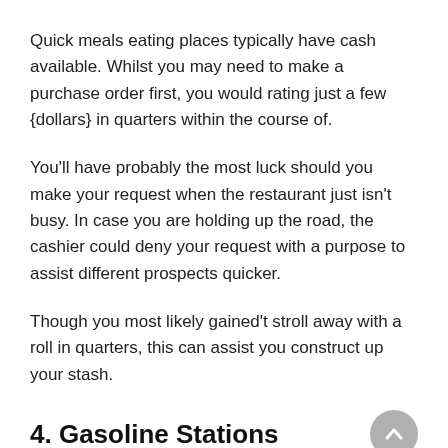Quick meals eating places typically have cash available. Whilst you may need to make a purchase order first, you would rating just a few {dollars} in quarters within the course of.
You'll have probably the most luck should you make your request when the restaurant just isn't busy. In case you are holding up the road, the cashier could deny your request with a purpose to assist different prospects quicker.
Though you most likely gained't stroll away with a roll in quarters, this can assist you construct up your stash.
4. Gasoline Stations
At many fuel stations, it is possible for you to to request